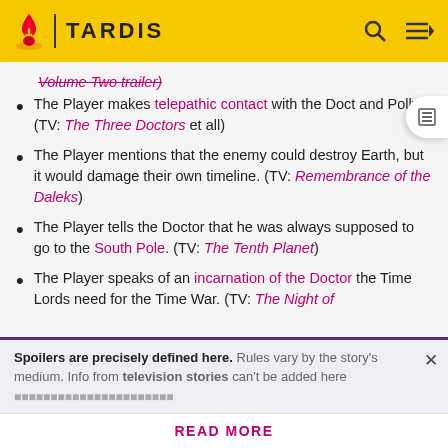TARDIS
Volume Two trailer)
The Player makes telepathic contact with the Doctor and Polly. (TV: The Three Doctors et all)
The Player mentions that the enemy could destroy Earth, but it would damage their own timeline. (TV: Remembrance of the Daleks)
The Player tells the Doctor that he was always supposed to go to the South Pole. (TV: The Tenth Planet)
The Player speaks of an incarnation of the Doctor the Time Lords need for the Time War. (TV: The Night of
Spoilers are precisely defined here. Rules vary by the story's medium. Info from television stories can't be added here
READ MORE